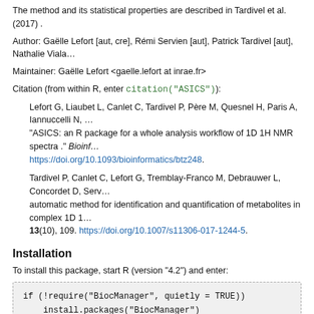The method and its statistical properties are described in Tardivel et al. (2017) .
Author: Gaëlle Lefort [aut, cre], Rémi Servien [aut], Patrick Tardivel [aut], Nathalie Viala…
Maintainer: Gaëlle Lefort <gaelle.lefort at inrae.fr>
Citation (from within R, enter citation("ASICS")):
Lefort G, Liaubet L, Canlet C, Tardivel P, Père M, Quesnel H, Paris A, Iannuccelli N, … "ASICS: an R package for a whole analysis workflow of 1D 1H NMR spectra ." Bioinf… https://doi.org/10.1093/bioinformatics/btz248.
Tardivel P, Canlet C, Lefort G, Tremblay-Franco M, Debrauwer L, Concordet D, Serv… automatic method for identification and quantification of metabolites in complex 1D 1… 13(10), 109. https://doi.org/10.1007/s11306-017-1244-5.
Installation
To install this package, start R (version "4.2") and enter:
if (!require("BiocManager", quietly = TRUE))
    install.packages("BiocManager")

BiocManager::install("ASICS")
For older versions of R, please refer to the appropriate Bioconductor release.
Documentation
To view documentation for the version of this package installed in your system, start R…